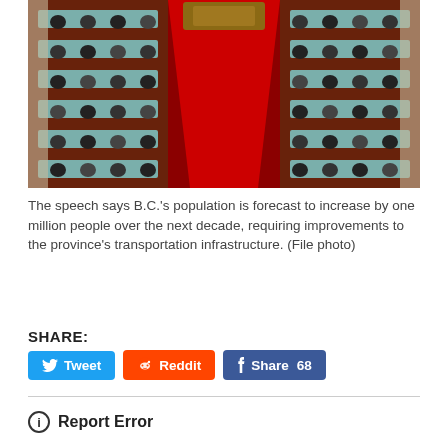[Figure (photo): Overhead view of a legislative chamber with rows of legislators seated at desks on both sides of a red-carpeted central aisle, ornate columns visible.]
The speech says B.C.'s population is forecast to increase by one million people over the next decade, requiring improvements to the province's transportation infrastructure. (File photo)
SHARE:
Tweet | Reddit | Share 68
Report Error